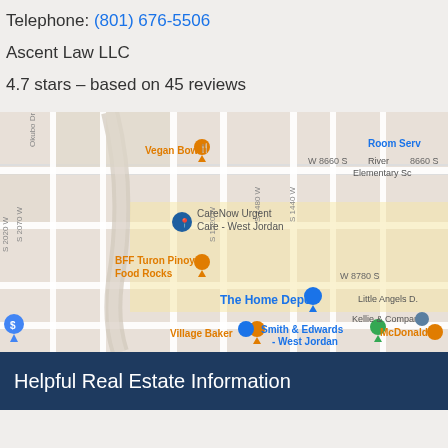Telephone: (801) 676-5506
Ascent Law LLC
4.7 stars – based on 45 reviews
[Figure (map): Google Maps embed showing the area near West Jordan, Utah with landmarks including Vegan Bowl, CareNow Urgent Care - West Jordan, BFF Turon Pinoy Food Rocks, The Home Depot, Village Baker, Smith & Edwards - West Jordan, Kellie & Company, McDonald's, Room Serv, River Elementary School, and Little Angels D. Street labels visible: 8660 S, W 8660 S, W 8780 S, S 2020 W, S 2070 W, S 1520 W, S 1480 W, S 1440 W, Okubo Dr.]
Helpful Real Estate Information